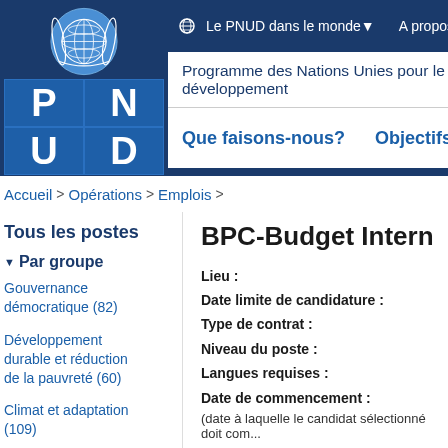[Figure (logo): UNDP/PNUD logo with UN emblem globe and P N U D letters on blue background]
Le PNUD dans le monde  A propos du PNUD  Publi...
Programme des Nations Unies pour le développement
Que faisons-nous?   Objectifs de développ...
Accueil > Opérations > Emplois >
Tous les postes
Par groupe
Gouvernance démocratique (82)
Développement durable et réduction de la pauvreté (60)
Climat et adaptation (109)
BPC-Budget Intern
Lieu :
Date limite de candidature :
Type de contrat :
Niveau du poste :
Langues requises :
Date de commencement :
(date à laquelle le candidat sélectionné doit com...
Durée du contrat initial
Durée prévue de la mission :
Le PNUD s'engage à recruter un personnel...